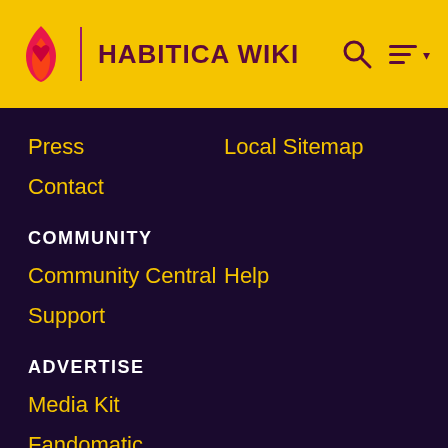HABITICA WIKI
Press
Local Sitemap
Contact
COMMUNITY
Community Central
Help
Support
ADVERTISE
Media Kit
Fandomatic
Contact